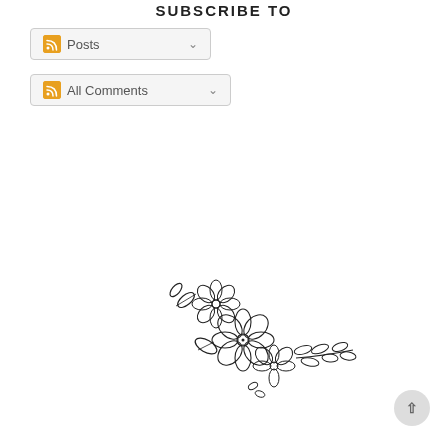SUBSCRIBE TO
Posts
All Comments
[Figure (illustration): Line art illustration of a floral arrangement with three flowers and leaves, rendered in black ink on white background, oriented diagonally.]